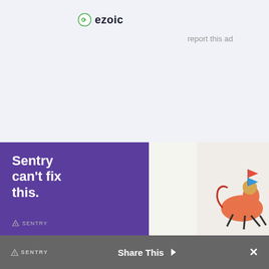ezoic   report this ad
© 2022 Devoted to Vinyl
| ABOUT | PRIVACY POLICY | TERMS OF USE | AFFILIATE DISCLOSURE
[Figure (screenshot): Sentry advertisement banner with purple background showing text 'Sentry can't fix this.' with illustrated character]
Share This ×